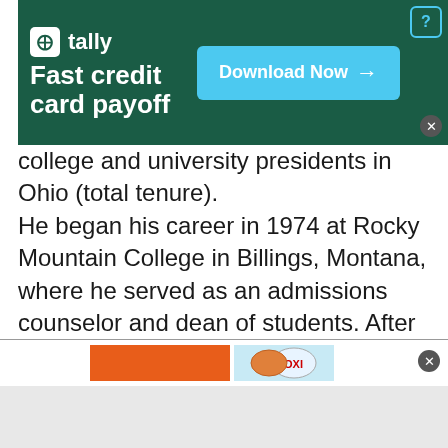[Figure (screenshot): Tally app advertisement banner with dark green background, logo, 'Fast credit card payoff' text, and 'Download Now' button]
college and university presidents in Ohio (total tenure). He began his career in 1974 at Rocky Mountain College in Billings, Montana, where he served as an admissions counselor and dean of students. After earning his Ph.D. at The Ohio State University, he was appointed assistant dean of the graduate school at OSU. He was an executive officer of the council of presidents for the New England Land Grant Universities from 1984-87. At the University of New Hampshire, DiBiasio served as executive assistant to
[Figure (screenshot): Bottom advertisement banner with orange block and OXI product image]